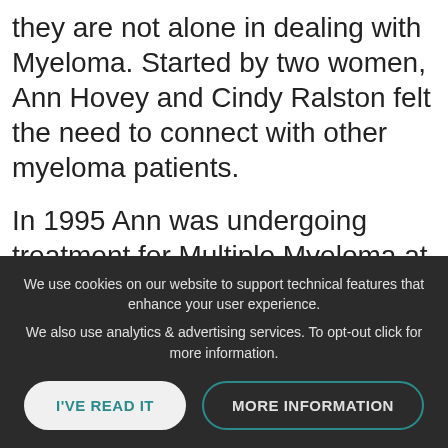they are not alone in dealing with Myeloma. Started by two women, Ann Hovey and Cindy Ralston felt the need to connect with other myeloma patients.
In 1995 Ann was undergoing treatment for Multiple Myeloma at the Myeloma Institute in Little Rock, Arkansas. She found great comfort and support from attending the weekly
We use cookies on our website to support technical features that enhance your user experience.
We also use analytics & advertising services. To opt-out click for more information.
I'VE READ IT
MORE INFORMATION